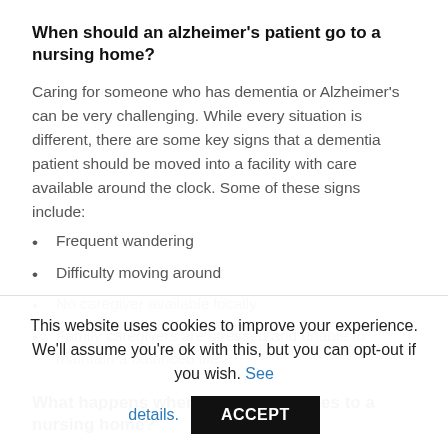When should an alzheimer's patient go to a nursing home?
Caring for someone who has dementia or Alzheimer's can be very challenging. While every situation is different, there are some key signs that a dementia patient should be moved into a facility with care available around the clock. Some of these signs include:
Frequent wandering
Difficulty moving around
No caregiver available locally
Family caregivers are stressed and unable to maintain a balanced life
What happens when one spouse goes to a nursing home?
Medicaid has spousal protection rules in place, which vary from
This website uses cookies to improve your experience. We'll assume you're ok with this, but you can opt-out if you wish. See details.